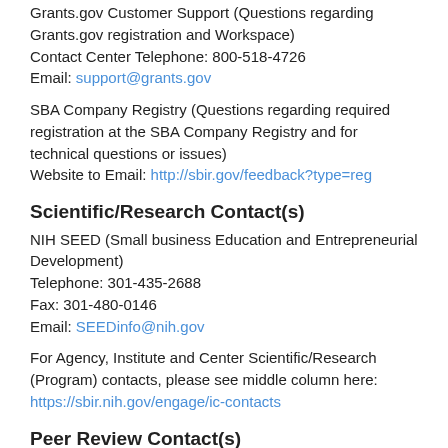Grants.gov Customer Support (Questions regarding Grants.gov registration and Workspace)
Contact Center Telephone: 800-518-4726
Email: support@grants.gov
SBA Company Registry (Questions regarding required registration at the SBA Company Registry and for technical questions or issues)
Website to Email: http://sbir.gov/feedback?type=reg
Scientific/Research Contact(s)
NIH SEED (Small business Education and Entrepreneurial Development)
Telephone: 301-435-2688
Fax: 301-480-0146
Email: SEEDinfo@nih.gov
For Agency, Institute and Center Scientific/Research (Program) contacts, please see middle column here:
https://sbir.nih.gov/engage/ic-contacts
Peer Review Contact(s)
Examine your eRA Commons account for review assignment and contact information (information appears two weeks after the submission due date).